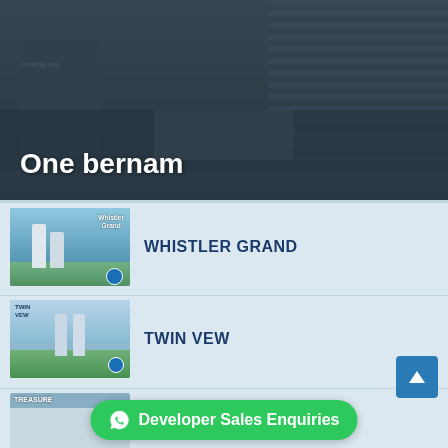[Figure (photo): Hero image of One Bernam property development with building facade in background, semi-transparent dark overlay]
One bernam
[Figure (photo): Thumbnail image of Whistler Grand condominium development showing two towers with aerial view]
WHISTLER GRAND
[Figure (photo): Thumbnail image of Twin Vew condominium development showing twin towers]
TWIN VEW
[Figure (photo): Thumbnail image of Treasure at Tampines development]
TREASURE AT TAMPINES
Developer Sales Enquiries